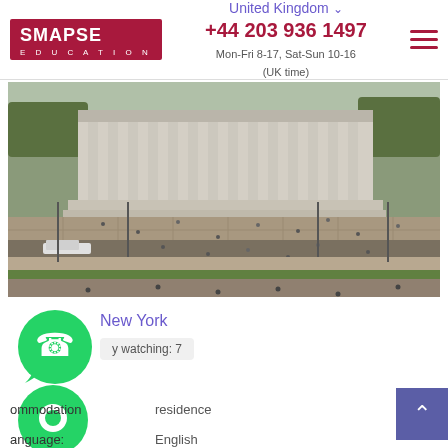SMAPSE EDUCATION | United Kingdom | +44 203 936 1497 | Mon-Fri 8-17, Sat-Sun 10-16 (UK time)
[Figure (photo): Aerial view of a grand neoclassical building with large columns and wide plaza with people walking, New York]
New York
y watching: 7
ommodation   residence
anguage:   English